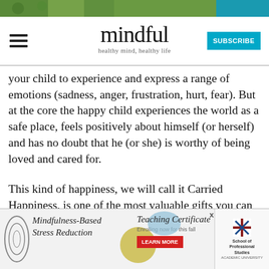[Figure (screenshot): Top banner with green nature image and teal strip on right]
mindful | healthy mind, healthy life | SUBSCRIBE
your child to experience and express a range of emotions (sadness, anger, frustration, hurt, fear). But at the core the happy child experiences the world as a safe place, feels positively about himself (or herself) and has no doubt that he (or she) is worthy of being loved and cared for.
This kind of happiness, we will call it Carried Happiness, is one of the most valuable gifts you can give your child. Giving it to him (or her) is easier than you think! Carried happiness develops
[Figure (screenshot): Advertisement banner at bottom: Mindfulness-Based Stress Reduction and Teaching Certificate course ad with School of Professional Studies logo]